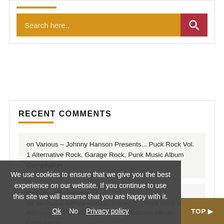[Figure (other): Search bar widget with golden/amber background input field and dark red search button with magnifying glass icon, with an orange accent line above]
RECENT COMMENTS
on Various – Johnny Hanson Presents... Puck Rock Vol. 1 Alternative Rock, Garage Rock, Punk Music Album Compilation
sunnyboy66 sunnyboy66
on Various – Johnny Hanson Presents... Puck Rock Vol. 1 Alternative Rock, Garage Rock, Punk Music Album Compilation
We use cookies to ensure that we give you the best experience on our website. If you continue to use this site we will assume that you are happy with it.
Ok   No   Privacy policy